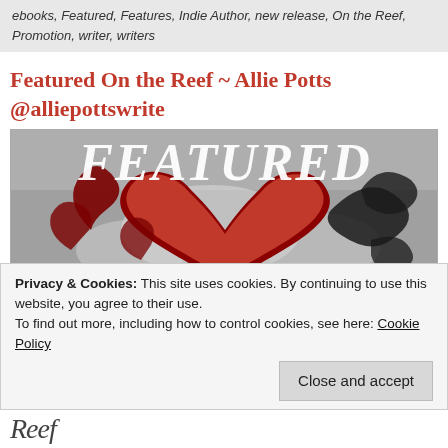ebooks, Featured, Features, Indie Author, new release, On the Reef, Promotion, writer, writers
Featured On the Reef ~ Allie Potts @alliepottswrite
[Figure (illustration): A decorative banner image with the word FEATURED in large white italic serif text on a grey background, with a large red heart and black floral scroll designs.]
Privacy & Cookies: This site uses cookies. By continuing to use this website, you agree to their use.
To find out more, including how to control cookies, see here: Cookie Policy
Close and accept